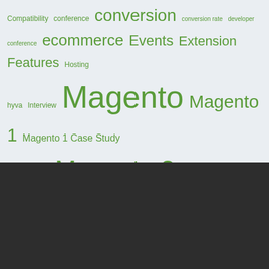[Figure (other): Tag cloud with various ecommerce/Magento related terms in green text on light gray background, varying font sizes indicating frequency/importance. Terms include: Compatibility, conference, conversion, conversion rate, developer, conference, ecommerce, Events, Extension, Features, Hosting, hyva, Interview, Magento, Magento 1, Magento 1 Case Study, Magento2, Magento 2, Magento Case Study, Market, Marketing, Migration, Netherlands, new release, new version, one step checkout, onestepcheckout, partnership, Payments, Product, Security, single page checkout, update, USA, video, Tweets by onestepcheckout]
Proud member of:
[Figure (logo): OneStepCheckout logo with tagline 'shopping cart optimization for Magento' in gray on dark background, alongside EXT text and DN blue circle badge]